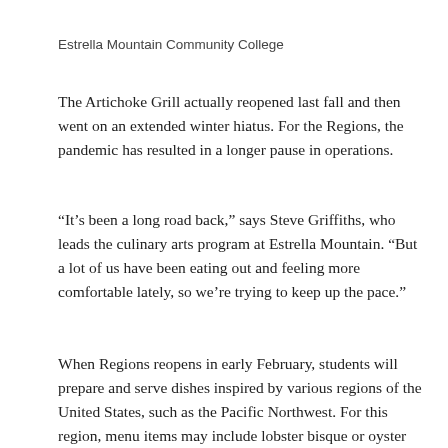Estrella Mountain Community College
The Artichoke Grill actually reopened last fall and then went on an extended winter hiatus. For the Regions, the pandemic has resulted in a longer pause in operations.
“It’s been a long road back,” says Steve Griffiths, who leads the culinary arts program at Estrella Mountain. “But a lot of us have been eating out and feeling more comfortable lately, so we’re trying to keep up the pace.”
When Regions reopens in early February, students will prepare and serve dishes inspired by various regions of the United States, such as the Pacific Northwest. For this region, menu items may include lobster bisque or oyster stew, salad with poached pear and blue cheese, duck or pork loin and cheesecake or bread pudding.